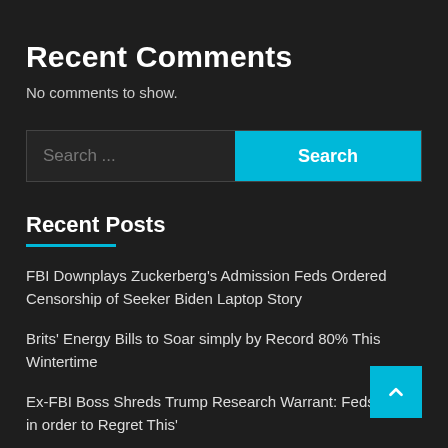Recent Comments
No comments to show.
Search ...
Recent Posts
FBI Downplays Zuckerberg’s Admission Feds Ordered Censorship of Seeker Biden Laptop Story
Brits’ Energy Bills to Soar simply by Record 80% This Wintertime
Ex-FBI Boss Shreds Trump Research Warrant: Feds ‘Going in order to Regret This’